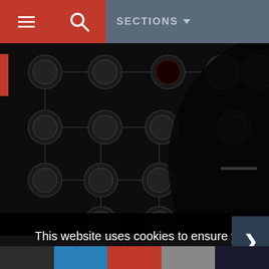SECTIONS
[Figure (screenshot): Dark screenshot of a game skill/tech tree showing circular character/ability icons connected by lines on a black background]
This website uses cookies to ensure you get the best experience on our website. If you decide to continue browsing this website, you automatically agree to our
Privacy Policy
Got it!